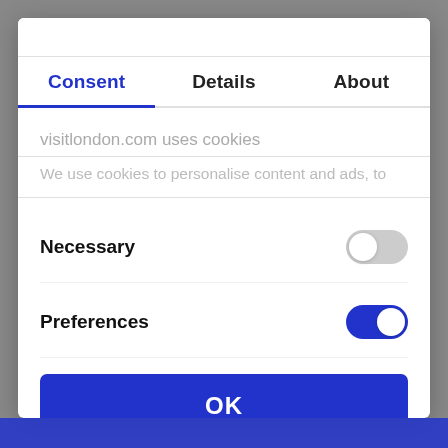Consent | Details | About
visitlondon.com uses cookies
We use cookies to personalise content and ads, to
Necessary
Preferences
OK
Powered by Cookiebot by Usercentrics